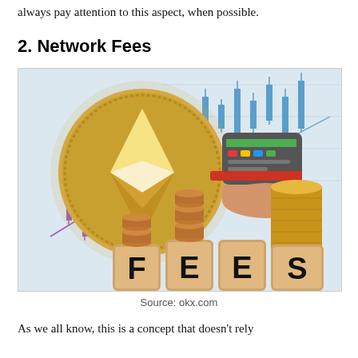always pay attention to this aspect, when possible.
2. Network Fees
[Figure (photo): Photo illustration showing an Ethereum coin, a payment terminal/card reader, stacks of gold coins, and wooden blocks spelling out FEES, with a candlestick chart in the background.]
Source: okx.com
As we all know, this is a concept that doesn't rely